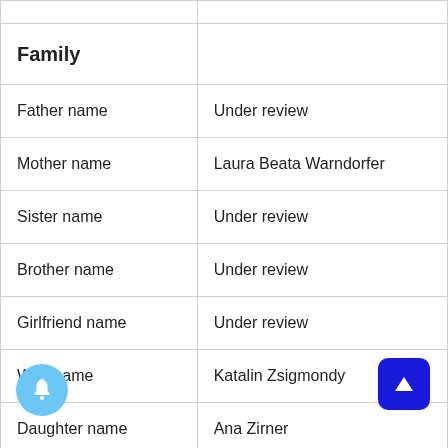|  |  |
| --- | --- |
|  |  |
| Family |  |
| Father name | Under review |
| Mother name | Laura Beata Warndorfer |
| Sister name | Under review |
| Brother name | Under review |
| Girlfriend name | Under review |
| Wife name | Katalin Zsigmondy |
| Daughter name | Ana Zirner |
| Son name | Under review |